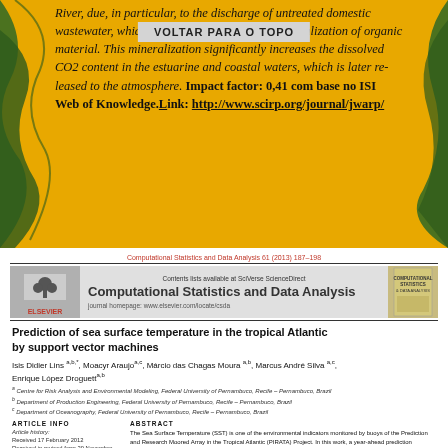VOLTAR PARA O TOPO
River, due, in particular, to the discharge of untreated domestic wastewater, which results in the continuous mineralization of organic material. This mineralization significantly increases the dissolved CO2 content in the estuarine and coastal waters, which is later re-leased to the atmosphere. Impact factor: 0,41 com base no ISI Web of Knowledge.Link: http://www.scirp.org/journal/jwarp/
Computational Statistics and Data Analysis 61 (2013) 187–198
[Figure (logo): Elsevier logo with tree graphic]
Computational Statistics and Data Analysis
Contents lists available at SciVerse ScienceDirect
journal homepage: www.elsevier.com/locate/csda
Prediction of sea surface temperature in the tropical Atlantic by support vector machines
Isis Didier Lins a,b,*, Moacyr Araujo a,c, Márcio das Chagas Moura a,b, Marcus André Silva a,c, Enrique López Droguett a,b
a Centre for Risk Analysis and Environmental Modeling, Federal University of Pernambuco, Recife – Pernambuco, Brazil
b Department of Production Engineering, Federal University of Pernambuco, Recife – Pernambuco, Brazil
c Department of Oceanography, Federal University of Pernambuco, Recife – Pernambuco, Brazil
ARTICLE INFO
Article history:
Received 17 February 2012
Received in revised form 29 November 2012
Accepted 1 December 2012
Available online 8 December 2012
ABSTRACT
The Sea Surface Temperature (SST) is one of the environmental indicators monitored by buoys of the Prediction and Research Moored Array in the Tropical Atlantic (PIRATA) Project. In this work, a year-ahead prediction procedure based on SST knowledge of previous periods is proposed and coupled with Support Vector Machines (SVMs). The proposed procedure is focused on seasonal and intraseasonal aspects of SST. Data from PIRATA buoys are used in various ways to feed the SVM models, with raw data, using,